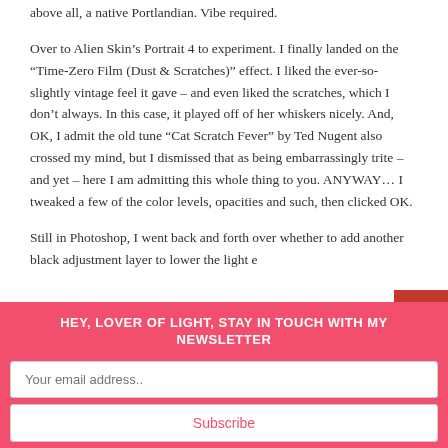above all, a native Portlandian. Vibe required.
Over to Alien Skin’s Portrait 4 to experiment. I finally landed on the “Time-Zero Film (Dust & Scratches)” effect. I liked the ever-so-slightly vintage feel it gave – and even liked the scratches, which I don’t always. In this case, it played off of her whiskers nicely. And, OK, I admit the old tune “Cat Scratch Fever” by Ted Nugent also crossed my mind, but I dismissed that as being embarrassingly trite – and yet – here I am admitting this whole thing to you. ANYWAY… I tweaked a few of the color levels, opacities and such, then clicked OK.
Still in Photoshop, I went back and forth over whether to add another black adjustment layer to lower the light e...
HEY, LOVER OF LIGHT, STAY IN TOUCH WITH MY NEWSLETTER
Your email address..
Subscribe